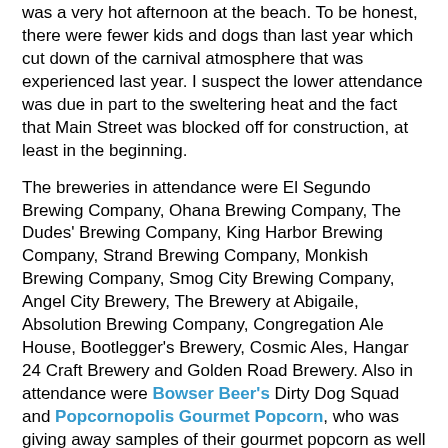was a very hot afternoon at the beach. To be honest, there were fewer kids and dogs than last year which cut down of the carnival atmosphere that was experienced last year. I suspect the lower attendance was due in part to the sweltering heat and the fact that Main Street was blocked off for construction, at least in the beginning.
The breweries in attendance were El Segundo Brewing Company, Ohana Brewing Company, The Dudes' Brewing Company, King Harbor Brewing Company, Strand Brewing Company, Monkish Brewing Company, Smog City Brewing Company, Angel City Brewery, The Brewery at Abigaile, Absolution Brewing Company, Congregation Ale House, Bootlegger's Brewery, Cosmic Ales, Hangar 24 Craft Brewery and Golden Road Brewery. Also in attendance were Bowser Beer's Dirty Dog Squad and Popcornopolis Gourmet Popcorn, who was giving away samples of their gourmet popcorn as well as their brand new, hop infused popcorn! This is still in the development stage so keep an eye out for it as they plan on having popcorn pairings with craft beer within the next few months.
In addition to everything else that was going on, a panel with a Question and Answer period was moderated by Celebrator Beer News contributor Tomm Carroll and included Brian Brewer from The Brewery at Abigaile, Christopher Briles